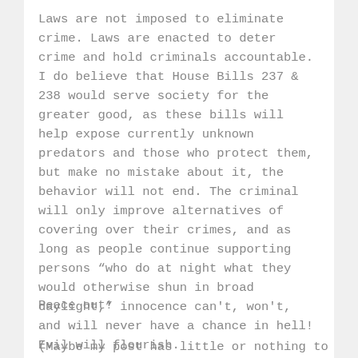Laws are not imposed to eliminate crime. Laws are enacted to deter crime and hold criminals accountable. I do believe that House Bills 237 & 238 would serve society for the greater good, as these bills will help expose currently unknown predators and those who protect them, but make no mistake about it, the behavior will not end. The criminal will only improve alternatives of covering over their crimes, and as long as people continue supporting persons “who do at night what they would otherwise shun in broad daylight,” innocence can't, won't, and will never have a chance in hell! Evil will flourish.
Peace out!
(Maybe my post has little or nothing to do with